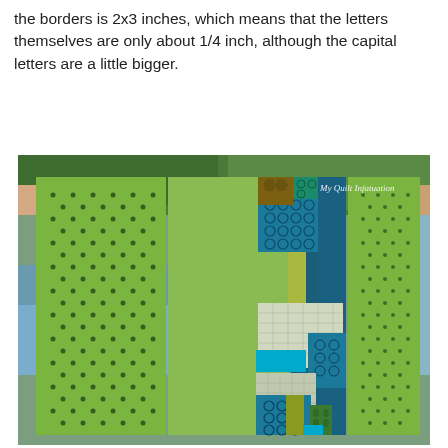the borders is 2x3 inches, which means that the letters themselves are only about 1/4 inch, although the capital letters are a little bigger.
[Figure (photo): A quilt with patchwork design held up outdoors by two people. The quilt features green dotted fabric on the left, a plain green center panel, and a right section with teal, blue, yellow-green, and patterned fabrics arranged in vertical strips and rectangles. A watermark reads 'My Quilt Infatuation' in the upper right corner.]